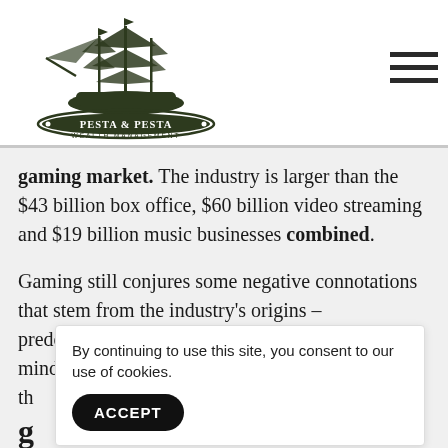[Figure (logo): Pesta & Pesta Wealth Management logo with tall ship illustration above the company name in a decorative oval badge]
[Figure (other): Hamburger menu icon (three horizontal lines) in top right corner]
gaming market. The industry is larger than the $43 billion box office, $60 billion video streaming and $19 billion music businesses combined.
Gaming still conjures some negative connotations that stem from the industry's origins – predominately male youths staying up late playing mindless games. Today, th
g
o
By continuing to use this site, you consent to our use of cookies.
ACCEPT